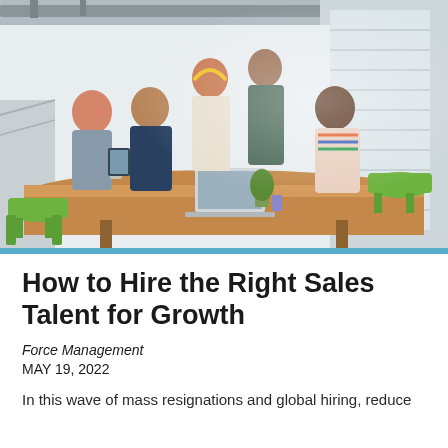[Figure (photo): Group of five diverse professionals gathered around a wooden conference table, looking at a laptop in a bright modern office with green chairs and large windows.]
How to Hire the Right Sales Talent for Growth
Force Management
MAY 19, 2022
In this wave of mass resignations and global hiring, reduce